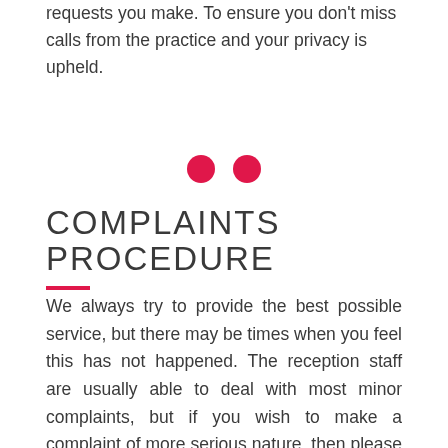requests you make. To ensure you don't miss calls from the practice and your privacy is upheld.
[Figure (other): Two pink/red circles used as decorative dividers]
COMPLAINTS PROCEDURE
We always try to provide the best possible service, but there may be times when you feel this has not happened. The reception staff are usually able to deal with most minor complaints, but if you wish to make a complaint of more serious nature, then please telephone or write to the Practice Manager.